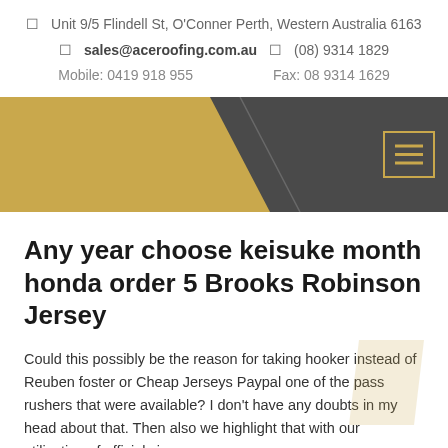Unit 9/5 Flindell St, O'Conner Perth, Western Australia 6163
sales@aceroofing.com.au  (08) 9314 1829
Mobile: 0419 918 955   Fax: 08 9314 1629
[Figure (other): Navigation banner with gold diagonal shape on left and dark grey background, with a hamburger menu icon on the right]
Any year choose keisuke month honda order 5 Brooks Robinson Jersey
Could this possibly be the reason for taking hooker instead of Reuben foster or Cheap Jerseys Paypal one of the pass rushers that were available? I don't have any doubts in my head about that. Then also we highlight that with our utilization of officials in a